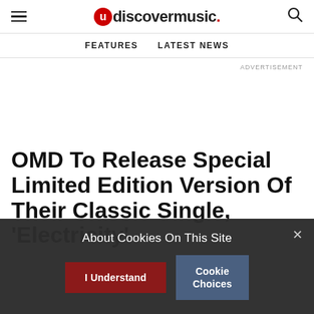uDiscoverMusic
FEATURES  LATEST NEWS
ADVERTISEMENT
OMD To Release Special Limited Edition Version Of Their Classic Single, 'Electricity'
About Cookies On This Site
I Understand
Cookie Choices